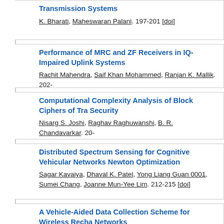Transmission Systems. K. Bharati, Maheswaran Palani. 197-201 [doi]
Performance of MRC and ZF Receivers in IQ-Impaired Uplink Systems. Rachit Mahendra, Saif Khan Mohammed, Ranjan K. Mallik. 202-
Computational Complexity Analysis of Block Ciphers of Tra Security. Nisarg S. Joshi, Raghav Raghuwanshi, B. R. Chandavarkar. 20-
Distributed Spectrum Sensing for Cognitive Vehicular Networks Newton Optimization. Sagar Kavaiya, Dhaval K. Patel, Yong Liang Guan 0001, Sumei Chang, Joanne Mun-Yee Lim. 212-215 [doi]
A Vehicle-Aided Data Collection Scheme for Wireless Rechargeable Networks. Rohit Kumar 0004, Joy Chandra Mukherjee. 216-219 [doi]